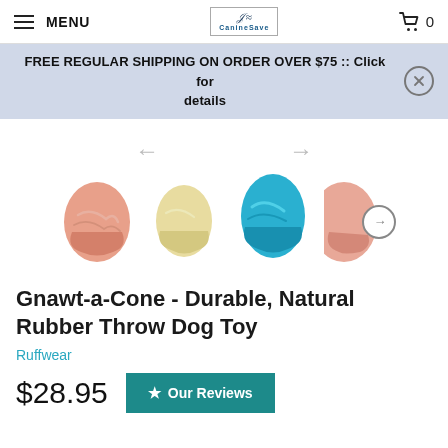MENU | CanineSave logo | Cart 0
FREE REGULAR SHIPPING ON ORDER OVER $75 :: Click for details
[Figure (photo): Product image gallery showing four dog toy cones in different colors: pink/salmon, yellow/cream, teal/blue, and another pink cone with a navigation arrow. Left and right navigation arrows shown above the images.]
Gnawt-a-Cone - Durable, Natural Rubber Throw Dog Toy
Ruffwear
$28.95
★ Our Reviews